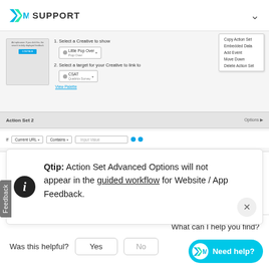XM SUPPORT
[Figure (screenshot): Screenshot of Qualtrics website feedback action set configuration UI showing creative selection, target link, context menu with options (Copy Action Set, Embedded Data, Add Event, Move Down, Delete Action Set), Action Set 2 bar with Options, and a filter row with Current URL Contains dropdown fields]
Qtip: Action Set Advanced Options will not appear in the guided workflow for Website / App Feedback.
Was this helpful?
What can I help you find?